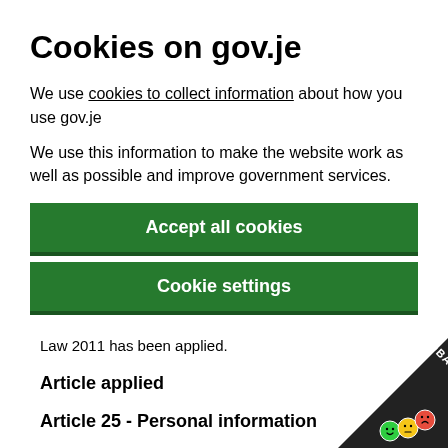Cookies on gov.je
We use cookies to collect information about how you use gov.je
We use this information to make the website work as well as possible and improve government services.
Accept all cookies
Cookie settings
Law 2011 has been applied.
Article applied
Article 25 - Personal information